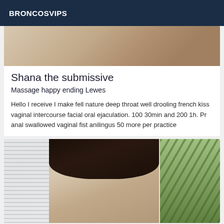BRONCOSVIPS
[Figure (photo): Photo showing lower body of a person wearing white stockings and a plaid skirt on a wooden floor]
Shana the submissive
Massage happy ending Lewes
Hello I receive I make fell nature deep throat well drooling french kiss vaginal intercourse facial oral ejaculation. 100 30min and 200 1h. Pr anal swallowed vaginal fist anilingus 50 more per practice
[Figure (photo): Photo of a dark-haired woman with red lipstick sitting in a room with window blinds on the left and a green plant on the right]